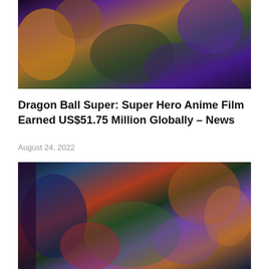[Figure (illustration): Anime illustration from Dragon Ball Super: Super Hero showing characters in action poses with purple, gold, and dark background]
Dragon Ball Super: Super Hero Anime Film Earned US$51.75 Million Globally – News
August 24, 2022
[Figure (illustration): Anime illustration from My Hero Academia showing multiple hero characters in a group pose with a city background]